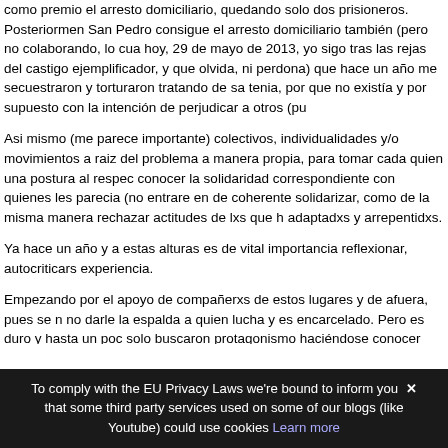como premio el arresto domiciliario, quedando solo dos prisioneros. Posteriormen San Pedro consigue el arresto domiciliario también (pero no colaborando, lo cua hoy, 29 de mayo de 2013, yo sigo tras las rejas del castigo ejemplificador, y que olvida, ni perdona) que hace un año me secuestraron y torturaron tratando de sa tenia, por que no existía y por supuesto con la intención de perjudicar a otros (pu
Asi mismo (me parece importante) colectivos, individualidades y/o movimientos a raiz del problema a manera propia, para tomar cada quien una postura al respec conocer la solidaridad correspondiente con quienes les parecia (no entrare en de coherente solidarizar, como de la misma manera rechazar actitudes de lxs que h adaptadxs y arrepentidxs.
Ya hace un año y a estas alturas es de vital importancia reflexionar, autocriticars experiencia.
Empezando por el apoyo de compañerxs de estos lugares y de afuera, pues se n no darle la espalda a quien lucha y es encarcelado. Pero es duro y hasta un poc solo buscaron protagonismo haciéndose conocer como el/la solidario (y para má demostrando que su lucha es engañarse a si mismx, y más aún cuando no se es Y pues más allá otrxs desaparecen totalmente después de haber solidarizado b carta ya esta, y creando historias de que «yo hice bastante».
Pues yo creo que la solidaridad y la lucha por la libertad no termina hasta ver a t a sus afines, o al menos es una lucha de nunca acabar. Hay que ser consecuent
To comply with the EU Privacy Laws we're bound to inform you ✕ that some third party services used on some of our blogs (like Youtube) could use cookies Learn more